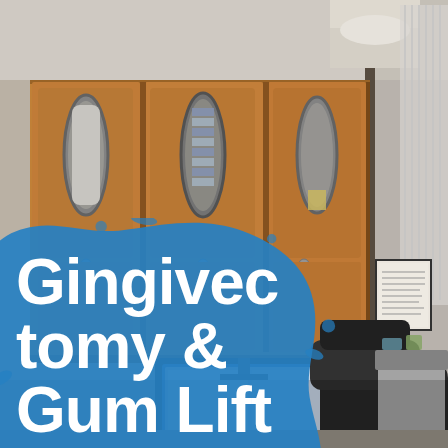[Figure (photo): Interior of a dental office showing wooden overhead cabinets with oval glass panels, a computer monitor on a wall-mounted arm, a dental chair in the foreground, and additional dental equipment and chairs visible in the background.]
Gingivectomy & Gum Lift Indianapolis & Fishers, IN